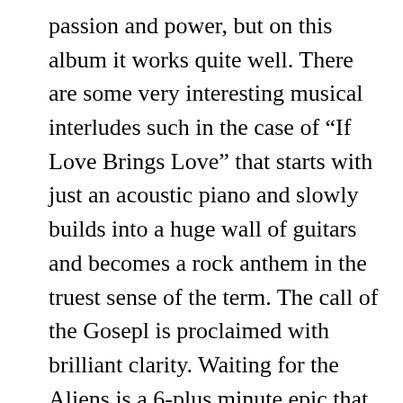passion and power, but on this album it works quite well. There are some very interesting musical interludes such in the case of “If Love Brings Love” that starts with just an acoustic piano and slowly builds into a huge wall of guitars and becomes a rock anthem in the truest sense of the term. The call of the Gosepl is proclaimed with brilliant clarity. Waiting for the Aliens is a 6-plus minute epic that, like many artists lyrics during the time, deals with a particular view of end times replete with Marks, Antichrists and a deception of the world that will cause everyone to believe aliens have taken over the world. This is borrowed from many popular prophecy prognosticators and was not a rare hypothesis. the song rocks though! The